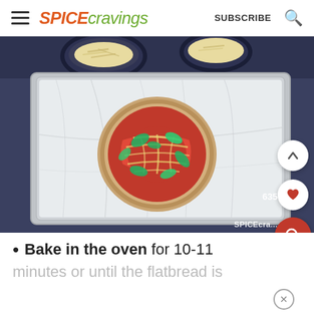SPICE cravings  SUBSCRIBE
[Figure (photo): Top-down view of a flatbread pizza topped with tomato sauce, mozzarella cheese, and fresh basil leaves, placed on a foil-lined baking sheet, on a dark slate background with bowls of shredded cheese visible at the top.]
Bake in the oven for 10-11 minutes or until the flatbread is